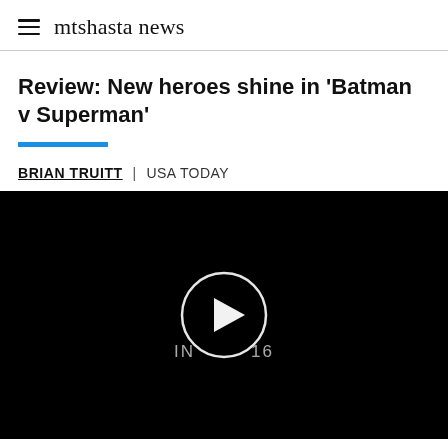mtshasta news
Review: New heroes shine in 'Batman v Superman'
BRIAN TRUITT | USA TODAY
[Figure (screenshot): Black video player area with a circular play button icon and text 'IN 16' overlaid in the center]